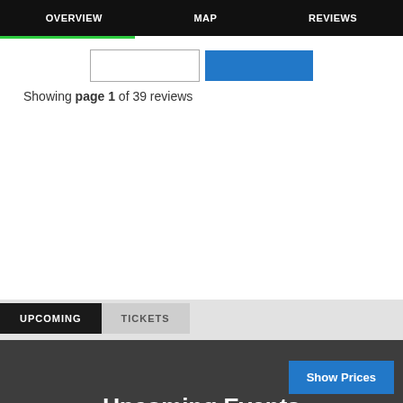OVERVIEW   MAP   REVIEWS
Showing page 1 of 39 reviews
UPCOMING   TICKETS
Upcoming Events Nearby....
Show Prices